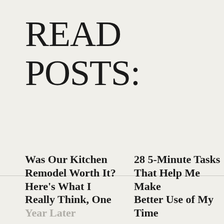READ POSTS:
Was Our Kitchen Remodel Worth It? Here's What I Really Think, One Year Later
28 5-Minute Tasks That Help Me Make Better Use of My Time